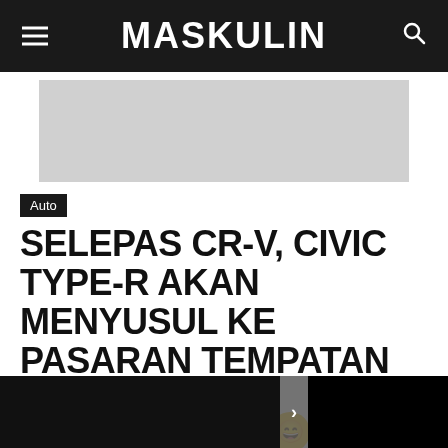MASKULIN
[Figure (other): Grey advertisement placeholder image]
Auto
SELEPAS CR-V, CIVIC TYPE-R AKAN MENYUSUL KE PASARAN TEMPATAN
By webadmin - June 7, 2017
[Figure (other): Social sharing bar with Listen button, Facebook, Twitter, WhatsApp, and emoji buttons]
[Figure (photo): Black image area at the bottom left]
[Figure (photo): Black image area at the bottom right with navigation arrow]